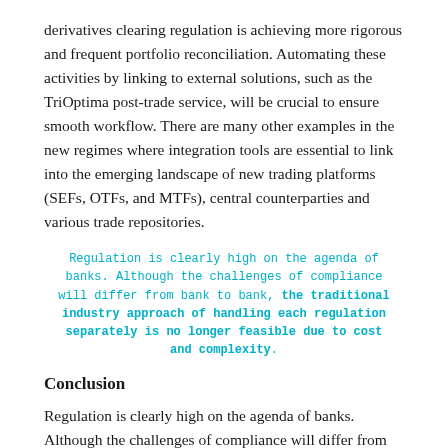derivatives clearing regulation is achieving more rigorous and frequent portfolio reconciliation. Automating these activities by linking to external solutions, such as the TriOptima post-trade service, will be crucial to ensure smooth workflow. There are many other examples in the new regimes where integration tools are essential to link into the emerging landscape of new trading platforms (SEFs, OTFs, and MTFs), central counterparties and various trade repositories.
Regulation is clearly high on the agenda of banks. Although the challenges of compliance will differ from bank to bank, the traditional industry approach of handling each regulation separately is no longer feasible due to cost and complexity.
Conclusion
Regulation is clearly high on the agenda of banks. Although the challenges of compliance will differ from bank to bank, the traditional industry approach of handling each regulation separately is no longer feasible due to cost and complexity.